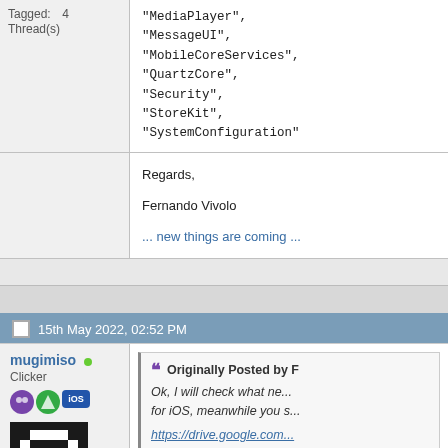Tagged: 4 Thread(s)
"MediaPlayer",
"MessageUI",
"MobileCoreServices",
"QuartzCore",
"Security",
"StoreKit",
"SystemConfiguration"
Regards,

Fernando Vivolo

... new things are coming ...
15th May 2022, 02:52 PM
mugimiso (online)
Clicker
Originally Posted by F
Ok, I will check what ne... for iOS, meanwhile you s...
https://drive.google.com...